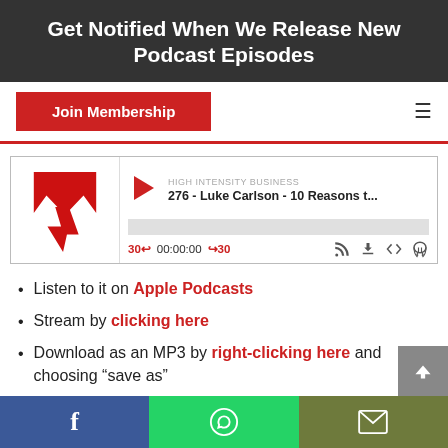Get Notified When We Release New Podcast Episodes
Join Membership
[Figure (screenshot): Podcast player widget showing High Intensity Business episode 276 - Luke Carlson - 10 Reasons t... with play button, progress bar, and playback controls showing 30 back, 00:00:00, forward 30]
Listen to it on Apple Podcasts
Stream by clicking here
Download as an MP3 by right-clicking here and choosing "save as"
Facebook | WhatsApp | Email share buttons